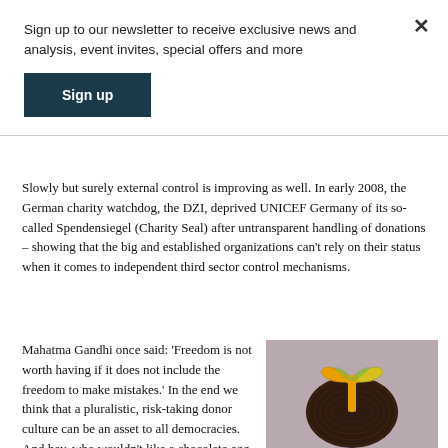Sign up to our newsletter to receive exclusive news and analysis, event invites, special offers and more
Sign up
Slowly but surely external control is improving as well. In early 2008, the German charity watchdog, the DZI, deprived UNICEF Germany of its so-called Spendensiegel (Charity Seal) after untransparent handling of donations – showing that the big and established organizations can’t rely on their status when it comes to independent third sector control mechanisms.
Mahatma Gandhi once said: ‘Freedom is not worth having if it does not include the freedom to make mistakes.’ In the end we think that a pluralistic, risk-taking donor culture can be an asset to all democracies. And hey, who wouldn’t like a chocolate egg
[Figure (photo): A chocolate egg decorated with a yellow and green ribbon bow on top, photographed against a light background.]